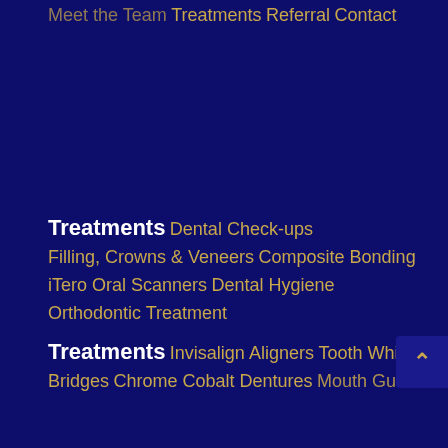Meet the Team
Treatments
Referral
Contact
Treatments
Dental Check-ups
Filling, Crowns & Veneers
Composite Bonding
iTero Oral Scanners
Dental Hygiene
Orthodontic Treatment
Treatments
Invisalign Aligners
Tooth Whitening
Bridges
Chrome Cobalt Dentures
Mouth Guards